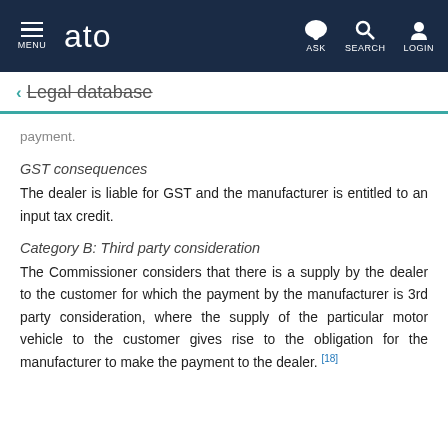MENU | ato | ASK | SEARCH | LOGIN
← Legal database
payment.
GST consequences
The dealer is liable for GST and the manufacturer is entitled to an input tax credit.
Category B: Third party consideration
The Commissioner considers that there is a supply by the dealer to the customer for which the payment by the manufacturer is 3rd party consideration, where the supply of the particular motor vehicle to the customer gives rise to the obligation for the manufacturer to make the payment to the dealer. [18]